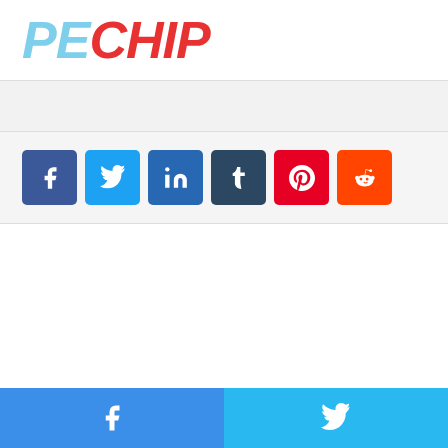[Figure (logo): PECHIP logo in bold italic font, PE in light blue and CHIP in red]
[Figure (screenshot): Light grey advertisement/banner placeholder bar]
[Figure (infographic): Social share buttons row: Facebook (blue), Twitter (light blue), LinkedIn (dark blue), Tumblr (dark navy), Pinterest (red), Reddit (orange)]
[Figure (infographic): Bottom footer bar split into two halves: left Facebook icon on medium blue, right Twitter bird icon on light blue]